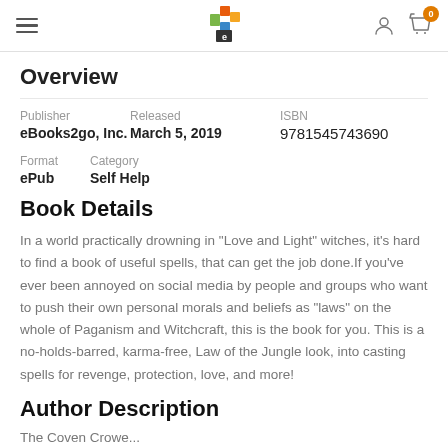eBooks2go navigation header with logo and cart
Overview
| Publisher | Released | ISBN |
| --- | --- | --- |
| eBooks2go, Inc. | March 5, 2019 | 9781545743690 |
| Format | Category |  |
| ePub | Self Help |  |
Book Details
In a world practically drowning in "Love and Light" witches, it's hard to find a book of useful spells, that can get the job done.If you've ever been annoyed on social media by people and groups who want to push their own personal morals and beliefs as "laws" on the whole of Paganism and Witchcraft, this is the book for you. This is a no-holds-barred, karma-free, Law of the Jungle look, into casting spells for revenge, protection, love, and more!
Author Description
The Coven Crowe...